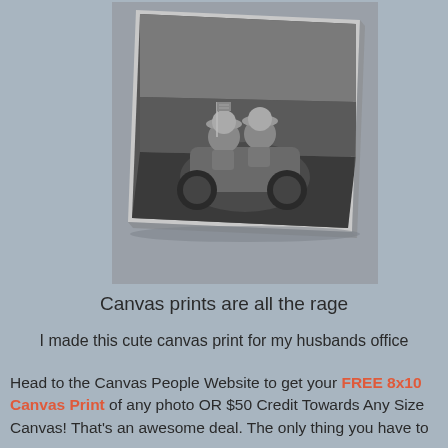[Figure (photo): Black and white canvas print mounted on a wall showing two children in hats riding a toy ATV/quad bike with a small American flag, displayed as wall art in an office setting.]
Canvas prints are all the rage
I made this cute canvas print for my husbands office
Head to the Canvas People Website to get your FREE 8x10 Canvas Print of any photo OR $50 Credit Towards Any Size Canvas! That's an awesome deal. The only thing you have to